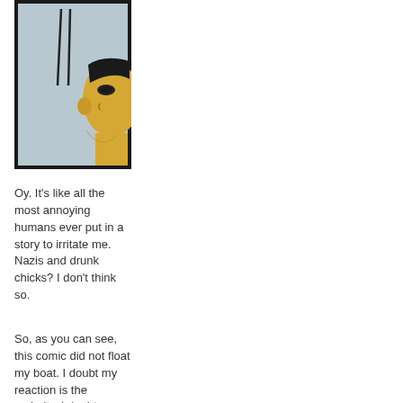[Figure (illustration): Comic panel showing a close-up of an anime/manga style character's face from the side, with a light blue-gray background and two dark diagonal lines. The character has yellow/tan skin tone and is partially visible at the right edge. Image has a thick black border.]
Oy. It's like all the most annoying humans ever put in a story to irritate me. Nazis and drunk chicks? I don't think so.
So, as you can see, this comic did not float my boat. I doubt my reaction is the majority. I doubt